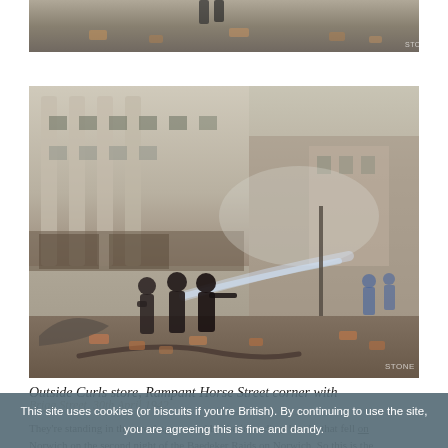[Figure (photo): Partial top view of bomb damage scene, debris and bricks on ground, similar WWII bombing aftermath, STONE watermark]
[Figure (photo): Firemen hosing down bombed-out building exterior on Rampant Horse Street, Norwich. Three men in dark uniforms direct a water hose at the ruined Curls store. Rubble and debris cover the street. Smoke visible in background. STONE watermark. Colorized WWII photograph, 30th April 1942.]
Outside Curls store, Rampant Horse Street corner with Brigg Street, 30th April 1942.
This site uses cookies (or biscuits if you're British). By continuing to use the site, you are agreeing this is fine and dandy.
They're standing in the wreckage caused by the incendiary bombs that fell on Norwich on the second night of the Baedeker Raids on Norwich. So this is the